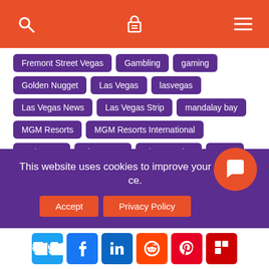Navigation header with search, luggage/menu icons
Fremont Street Vegas
Gambling
gaming
Golden Nugget
Las Vegas
lasvegas
Las Vegas News
Las Vegas Strip
mandalay bay
MGM Resorts
MGM Resorts International
Park MGM
The Vegas
The Venetian
travel
TravelZork
vegas
Vegas News
Vegas Strip
Vegas Strip Casino
Wynn
Wynn Las Vegas
This website uses cookies to improve your experience.
Accept | Privacy Policy